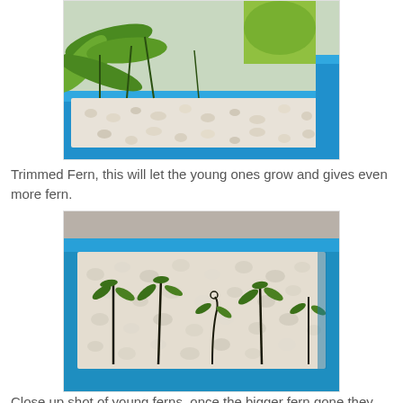[Figure (photo): A blue rectangular planter/tray filled with white pebbles and lush green ferns growing from it, viewed from above at an angle.]
Trimmed Fern, this will let the young ones grow and gives even more fern.
[Figure (photo): A blue rectangular tray filled with white pebbles and small young fern plants with dark stems, shot from above in an indoor setting.]
Close up shot of young ferns, once the bigger fern gone they